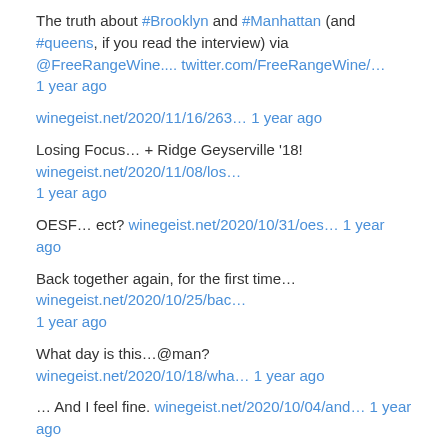The truth about #Brooklyn and #Manhattan (and #queens, if you read the interview) via @FreeRangeWine.... twitter.com/FreeRangeWine/… 1 year ago
winegeist.net/2020/11/16/263… 1 year ago
Losing Focus… + Ridge Geyserville '18! winegeist.net/2020/11/08/los… 1 year ago
OESF… ect? winegeist.net/2020/10/31/oes… 1 year ago
Back together again, for the first time… winegeist.net/2020/10/25/bac… 1 year ago
What day is this…@man? winegeist.net/2020/10/18/wha… 1 year ago
… And I feel fine. winegeist.net/2020/10/04/and… 1 year ago
Time Immemorial winegeist.net/2020/09/26/tim… 1 year ago
No means yes… in wine shopping. winegeist.net/2020/09/16/no-… 1 year ago